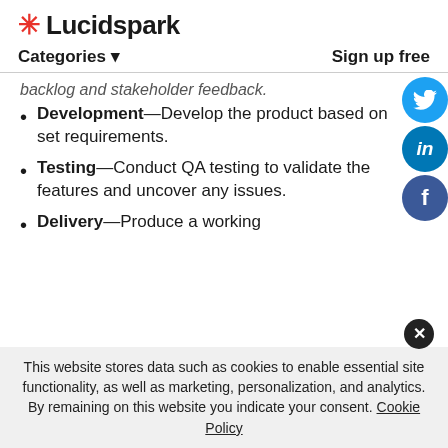Lucidspark
Categories ▾    Sign up free
backlog and stakeholder feedback.
Development—Develop the product based on set requirements.
Testing—Conduct QA testing to validate the features and uncover any issues.
Delivery—Produce a working
This website stores data such as cookies to enable essential site functionality, as well as marketing, personalization, and analytics. By remaining on this website you indicate your consent. Cookie Policy